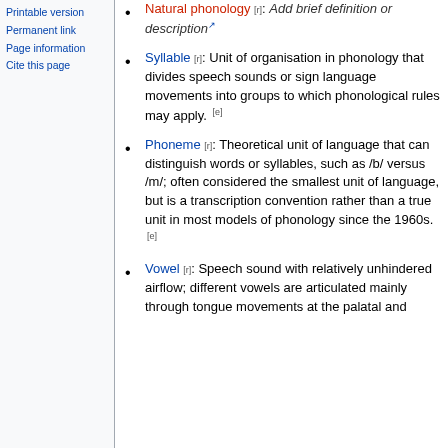Printable version
Permanent link
Page information
Cite this page
Natural phonology [r]: Add brief definition or description
Syllable [r]: Unit of organisation in phonology that divides speech sounds or sign language movements into groups to which phonological rules may apply. [e]
Phoneme [r]: Theoretical unit of language that can distinguish words or syllables, such as /b/ versus /m/; often considered the smallest unit of language, but is a transcription convention rather than a true unit in most models of phonology since the 1960s. [e]
Vowel [r]: Speech sound with relatively unhindered airflow; different vowels are articulated mainly through tongue movements at the palatal and